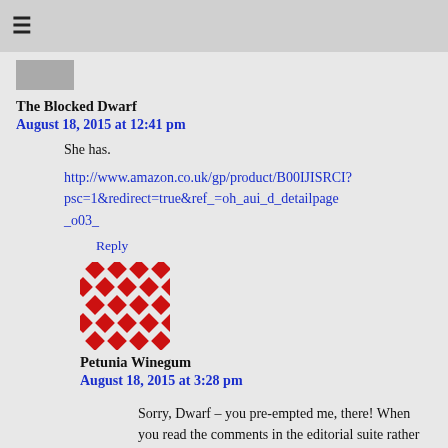☰
[Figure (screenshot): Small avatar image thumbnail, partially visible]
The Blocked Dwarf
August 18, 2015 at 12:41 pm
She has.
http://www.amazon.co.uk/gp/product/B00IJISRCI?
psc=1&redirect=true&ref_=oh_aui_d_detailpage_o03_
Reply
[Figure (illustration): Red pixel/diamond pattern avatar icon]
Petunia Winegum
August 18, 2015 at 3:28 pm
Sorry, Dwarf – you pre-empted me, there! When you read the comments in the editorial suite rather than on